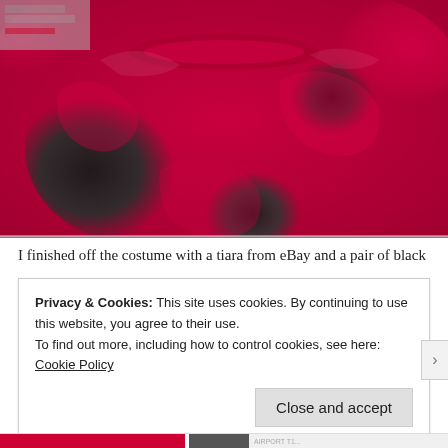[Figure (photo): Close-up photo of a handmade costume piece made from crimson/hot-pink and black satin fabric, gathered with elastic bands, resembling a ruffled skirt or tutu accessory.]
I finished off the costume with a tiara from eBay and a pair of black
Privacy & Cookies: This site uses cookies. By continuing to use this website, you agree to their use.
To find out more, including how to control cookies, see here: Cookie Policy
Close and accept